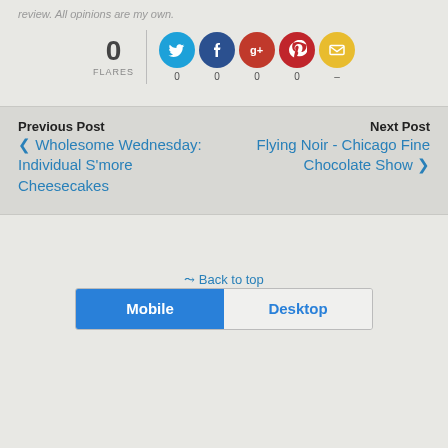review. All opinions are my own.
[Figure (infographic): Social sharing widget showing 0 FLARES with icons for Twitter (0), Facebook (0), Google+ (0), Pinterest (0), and Email (–)]
Previous Post
Next Post
< Wholesome Wednesday: Individual S'more Cheesecakes
Flying Noir - Chicago Fine Chocolate Show >
Back to top
Mobile  Desktop